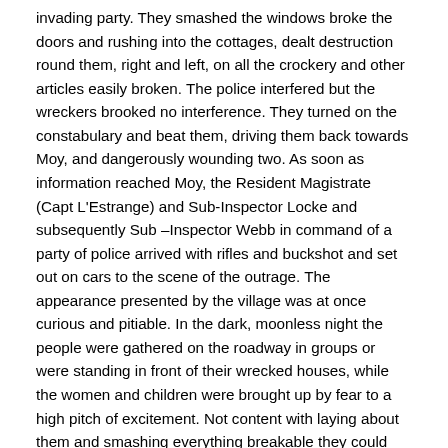invading party. They smashed the windows broke the doors and rushing into the cottages, dealt destruction round them, right and left, on all the crockery and other articles easily broken. The police interfered but the wreckers brooked no interference. They turned on the constabulary and beat them, driving them back towards Moy, and dangerously wounding two. As soon as information reached Moy, the Resident Magistrate (Capt L'Estrange) and Sub-Inspector Locke and subsequently Sub –Inspector Webb in command of a party of police arrived with rifles and buckshot and set out on cars to the scene of the outrage. The appearance presented by the village was at once curious and pitiable. In the dark, moonless night the people were gathered on the roadway in groups or were standing in front of their wrecked houses, while the women and children were brought up by fear to a high pitch of excitement. Not content with laying about them and smashing everything breakable they could find, the midnight rioters, to complete the work of destruction, set fire to one of the houses, belonging to a man Patrick Fox; but the wind not being high, the flames were fortunately